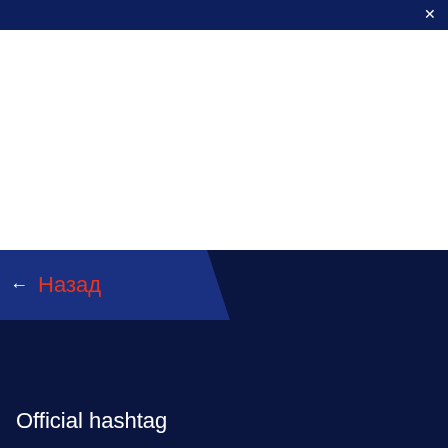×
[Figure (screenshot): White content area placeholder]
← Назад
Official hashtag